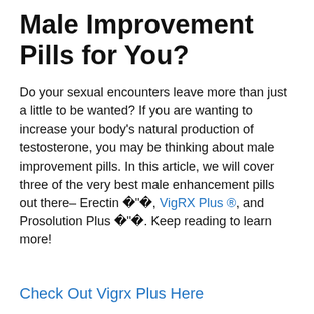Male Improvement Pills for You?
Do your sexual encounters leave more than just a little to be wanted? If you are wanting to increase your body’s natural production of testosterone, you may be thinking about male improvement pills. In this article, we will cover three of the very best male enhancement pills out there– Erectin �“�, VigRX Plus ®, and Prosolution Plus �“�. Keep reading to learn more!
Check Out Vigrx Plus Here